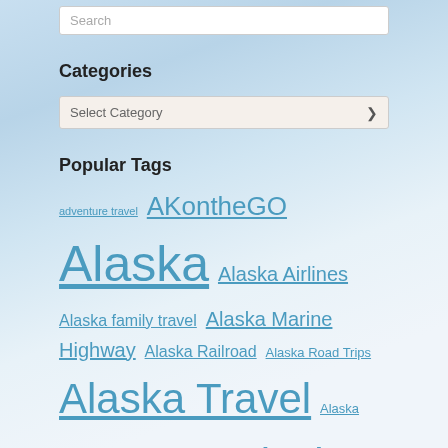Search
Categories
Select Category
Popular Tags
adventure travel AKontheGO Alaska Alaska Airlines Alaska family travel Alaska Marine Highway Alaska Railroad Alaska Road Trips Alaska Travel Alaska Wildlife Conservation Center Alaska with Kids Alaska Zoo Alyeska Resort Anchorage Anchorage Museum Camping Camping with Kids Denali National Park Fairbanks Family Fun Family Travel get outdoors Great Alaskan Holidays Hiking Hiking With Kids Homer Iditarod Juneau Kenai Peninsula Kids Outdoor Families road trips RV travel Seward Sitka Skiing Sled